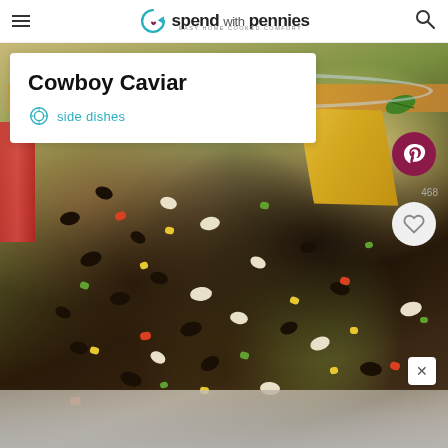spend with pennies — EASY HOME COOKED COMFORT
Cowboy Caviar
side dishes
[Figure (photo): A glass bowl filled with cowboy caviar — a colorful mix of black beans, white beans, corn kernels, diced red peppers, green herbs and avocado, with a yellow tortilla chip dipping in. Social share buttons (Pinterest showing 468, and a heart/save button) are overlaid on the right side. A close button (×) appears at bottom right. A red cloth and tortilla chip are visible in the upper left. The bottom portion shows a faded second food photo.]
468